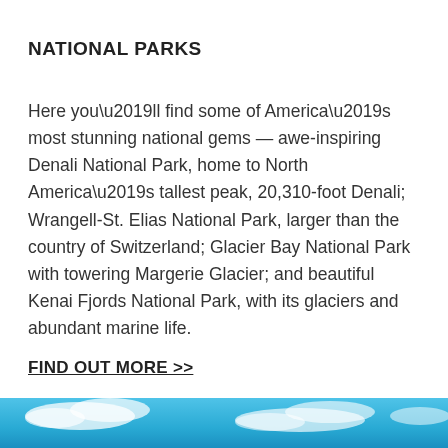NATIONAL PARKS
Here you’ll find some of America’s most stunning national gems — awe-inspiring Denali National Park, home to North America’s tallest peak, 20,310-foot Denali; Wrangell-St. Elias National Park, larger than the country of Switzerland; Glacier Bay National Park with towering Margerie Glacier; and beautiful Kenai Fjords National Park, with its glaciers and abundant marine life.
FIND OUT MORE  >>
[Figure (photo): Partial view of a sky with blue tones and clouds, shown as a horizontal strip at the bottom of the page.]